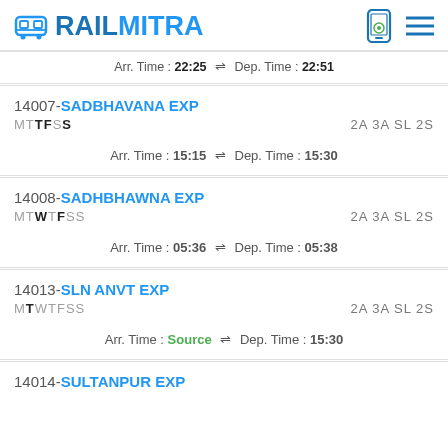RAILMITRA
Arr. Time : 22:25 | Dep. Time : 22:51
14007-SADBHAVANA EXP | MTWTFSS | 2A 3A SL 2S | Arr. Time : 15:15 | Dep. Time : 15:30
14008-SADHBHAWNA EXP | MTWTFSS | 2A 3A SL 2S | Arr. Time : 05:36 | Dep. Time : 05:38
14013-SLN ANVT EXP | MTWTFSS | 2A 3A SL 2S | Arr. Time : Source | Dep. Time : 15:30
14014-SULTANPUR EXP